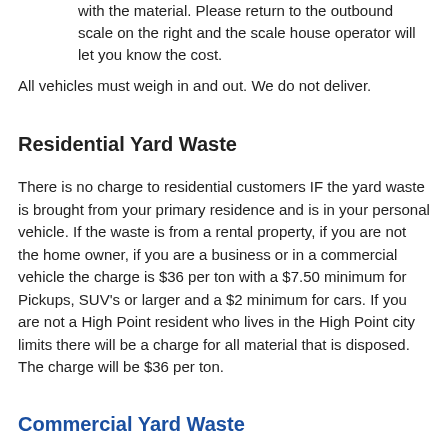with the material. Please return to the outbound scale on the right and the scale house operator will let you know the cost.
All vehicles must weigh in and out. We do not deliver.
Residential Yard Waste
There is no charge to residential customers IF the yard waste is brought from your primary residence and is in your personal vehicle. If the waste is from a rental property, if you are not the home owner, if you are a business or in a commercial vehicle the charge is $36 per ton with a $7.50 minimum for Pickups, SUV's or larger and a $2 minimum for cars. If you are not a High Point resident who lives in the High Point city limits there will be a charge for all material that is disposed. The charge will be $36 per ton.
Commercial Yard Waste